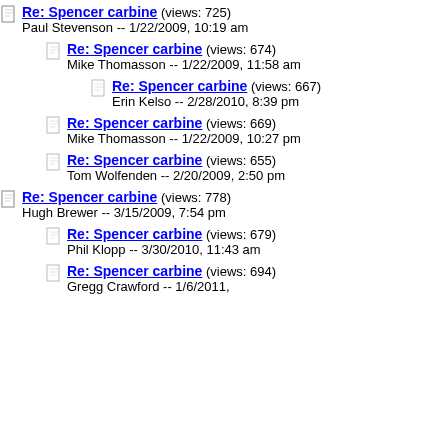Re: Spencer carbine (views: 725)
Paul Stevenson -- 1/22/2009, 10:19 am
Re: Spencer carbine (views: 674)
Mike Thomasson -- 1/22/2009, 11:58 am
Re: Spencer carbine (views: 667)
Erin Kelso -- 2/28/2010, 8:39 pm
Re: Spencer carbine (views: 669)
Mike Thomasson -- 1/22/2009, 10:27 pm
Re: Spencer carbine (views: 655)
Tom Wolfenden -- 2/20/2009, 2:50 pm
Re: Spencer carbine (views: 778)
Hugh Brewer -- 3/15/2009, 7:54 pm
Re: Spencer carbine (views: 679)
Phil Klopp -- 3/30/2010, 11:43 am
Re: Spencer carbine (views: 694)
Gregg Crawford -- 1/6/2011,